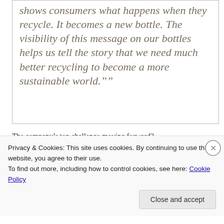Deer Park and Resource Brands shows consumers what happens when they recycle. It becomes a new bottle. The visibility of this message on our bottles helps us tell the story that we need much better recycling to become a more sustainable world.""
The company's top challenge moving forward?
"At the end of the day, you want zero impact, but is that possible? Our challenge is to keep finding those
Privacy & Cookies: This site uses cookies. By continuing to use this website, you agree to their use.
To find out more, including how to control cookies, see here: Cookie Policy
Close and accept